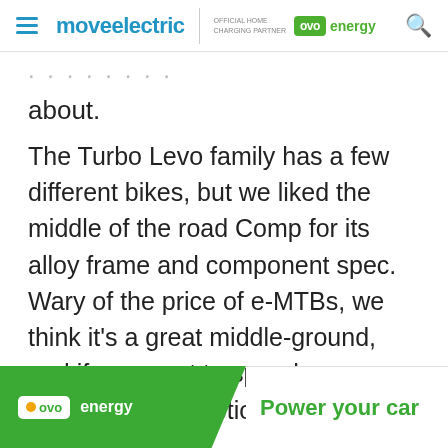move electric | OFFICIAL HOME CHARGING PARTNER ovo energy
about.
The Turbo Levo family has a few different bikes, but we liked the middle of the road Comp for its alloy frame and component spec. Wary of the price of e-MTBs, we think it's a great middle-ground, and if you want to spend more, there are other options in the range.
The Specialized 2.1 motor is a new design from the brand that is lighter and more
[Figure (other): OVO Energy advertisement banner at bottom of page showing OVO energy logo and text 'Power your car']